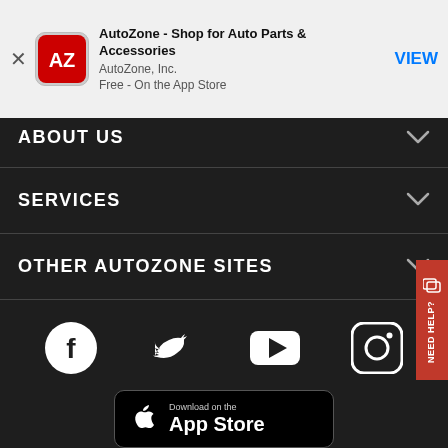[Figure (screenshot): App Store smart banner at top showing AutoZone app: AZ icon, title 'AutoZone - Shop for Auto Parts & Accessories', publisher 'AutoZone, Inc.', 'Free - On the App Store', with VIEW button on right]
ABOUT US
SERVICES
OTHER AUTOZONE SITES
[Figure (infographic): Social media icons row: Facebook, Twitter/X bird, YouTube play button, Instagram]
[Figure (infographic): Download on the App Store button (black rounded rectangle)]
[Figure (infographic): GET IT ON Google Play button (black rounded rectangle)]
NEED HELP?